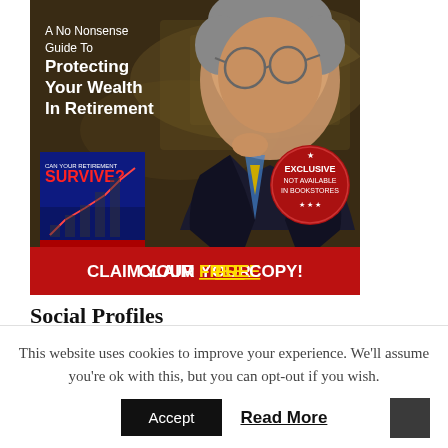[Figure (photo): Book advertisement for 'Can Your Retirement Survive?' by Ben Stein. Shows an older man in a suit with glasses, holding his chin thoughtfully, with money bills in the background. Includes a mini book cover, an 'EXCLUSIVE NOT AVAILABLE IN BOOKSTORES' badge, red bottom bar saying 'CLAIM YOUR FREE COPY!', and white text overlay reading 'A No Nonsense Guide To Protecting Your Wealth In Retirement'.]
Social Profiles
This website uses cookies to improve your experience. We'll assume you're ok with this, but you can opt-out if you wish.